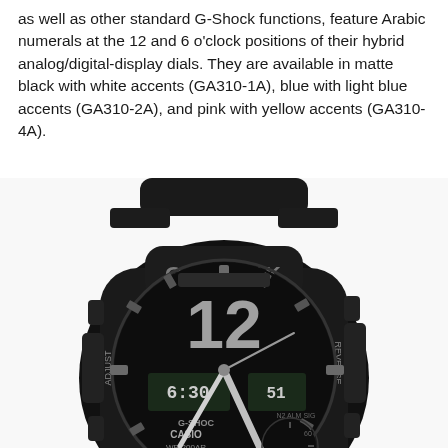as well as other standard G-Shock functions, feature Arabic numerals at the 12 and 6 o'clock positions of their hybrid analog/digital-display dials. They are available in matte black with white accents (GA310-1A), blue with light blue accents (GA310-2A), and pink with yellow accents (GA310-4A).
[Figure (photo): Close-up photograph of a matte black Casio G-Shock watch (GA310-1A) with white/silver accents, showing the hybrid analog/digital dial with Arabic numeral 12 prominently displayed, G-SHOCK branding on the bezel, CASIO and WR 200AR markings on the dial face, ADJUST text on left side and REVERSE on right side of case.]